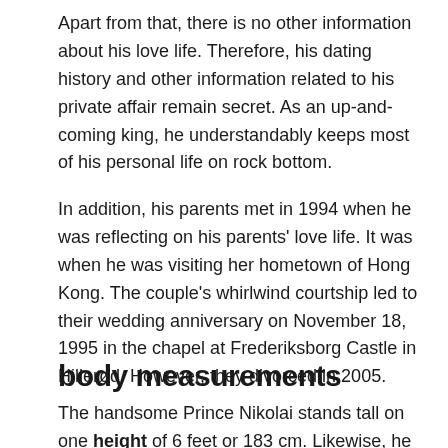Apart from that, there is no other information about his love life. Therefore, his dating history and other information related to his private affair remain secret. As an up-and-coming king, he understandably keeps most of his personal life on rock bottom.
In addition, his parents met in 1994 when he was reflecting on his parents' love life. It was when he was visiting her hometown of Hong Kong. The couple's whirlwind courtship led to their wedding anniversary on November 18, 1995 in the chapel at Frederiksborg Castle in Hillerød. However, they divorced in 2005.
body measurements
The handsome Prince Nikolai stands tall on one height of 6 feet or 183 cm. Likewise, he has a matching weight which consists of 70 kilograms 150 lbs. He has a pair of pretty